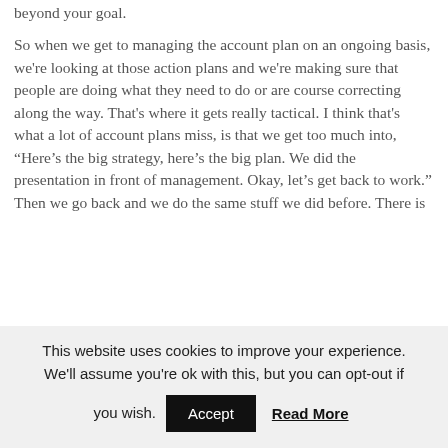beyond your goal.
So when we get to managing the account plan on an ongoing basis, we're looking at those action plans and we're making sure that people are doing what they need to do or are course correcting along the way. That's where it gets really tactical. I think that's what a lot of account plans miss, is that we get too much into, “Here’s the big strategy, here’s the big plan. We did the presentation in front of management. Okay, let’s get back to work.” Then we go back and we do the same stuff we did before. There is
This website uses cookies to improve your experience. We'll assume you're ok with this, but you can opt-out if you wish.